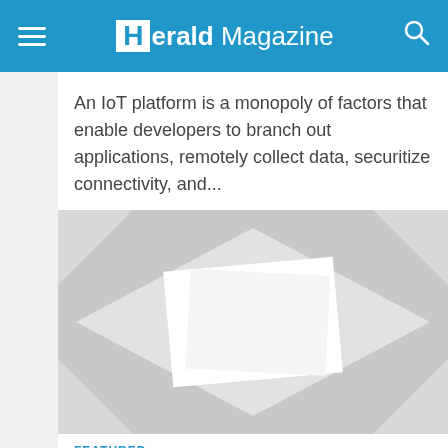Herald Magazine
An IoT platform is a monopoly of factors that enable developers to branch out applications, remotely collect data, securitize connectivity, and...
[Figure (photo): Abstract layered white/light gray geometric paper shapes forming a diamond and square composition on a light gray background]
FEATURED
What criteria are taken into